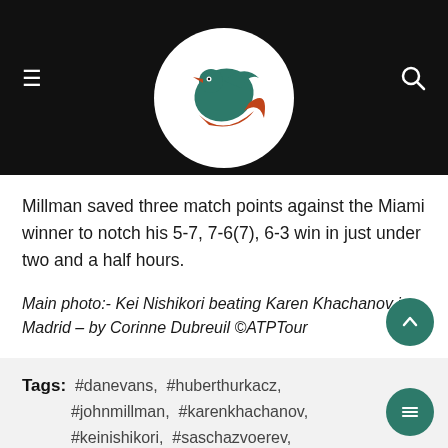[Figure (logo): Website logo: a circular white background with a green and orange stylized bird/flame design]
Millman saved three match points against the Miami winner to notch his 5-7, 7-6(7), 6-3 win in just under two and a half hours.
Main photo:- Kei Nishikori beating Karen Khachanov in Madrid – by Corinne Dubreuil ©ATPTour
Tags: #danevans, #huberthurkacz, #johnmillman, #karenkhachanov, #keinishikori, #saschazvoerev